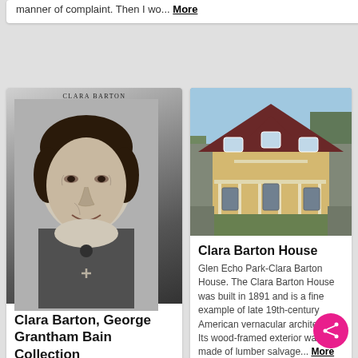manner of complaint. Then I wo... More
[Figure (photo): Black and white portrait photograph of Clara Barton, labeled CLARA BARTON at top]
Clara Barton, George Grantham Bain Collection
[Figure (photo): Color photograph of Clara Barton House, a Victorian-era building with dark roof]
Clara Barton House
Glen Echo Park-Clara Barton House. The Clara Barton House was built in 1891 and is a fine example of late 19th-century American vernacular architecture. Its wood-framed exterior walls are made of lumber salvage... More